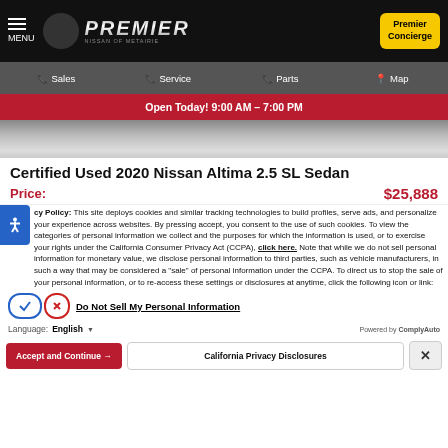[Figure (screenshot): Premier Nissan dealership website header with black background, hamburger menu, circular logo, PREMIER metallic text logo, and Premier Concierge yellow button]
Sales | Service | Parts | Map
Open Today! 9:00 AM - 7:00 PM
[Figure (photo): Partial image of a car, showing the road/surface below]
Certified Used 2020 Nissan Altima 2.5 SL Sedan
Price: $25,888
cy Policy: This site deploys cookies and similar tracking technologies to build profiles, serve ads, and personalize your experience across websites. By pressing accept, you consent to the use of such cookies. To view the categories of personal information we collect and the purposes for which the information is used, or to exercise your rights under the California Consumer Privacy Act (CCPA), click here. Note that while we do not sell personal information for monetary value, we disclose personal information to third parties, such as vehicle manufacturers, in such a way that may be considered a "sale" of personal information under the CCPA. To direct us to stop the sale of your personal information, or to re-access these settings or disclosures at anytime, click the following icon or link:
Do Not Sell My Personal Information
Language: English
Powered by ComplyAuto
Accept and Continue → | California Privacy Disclosures | X